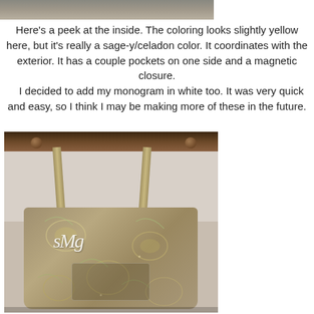[Figure (photo): Top portion of a photo showing the inside of a bag, cropped at top of page]
Here's a peek at the inside. The coloring looks slightly yellow here, but it's really a sage-y/celadon color. It coordinates with the exterior. It has a couple pockets on one side and a magnetic closure.
    I decided to add my monogram in white too. It was very quick and easy, so I think I may be making more of these in the future.
[Figure (photo): Photo of a floral fabric tote bag with white monogram embroidery, hanging from a wooden rack on the wall]